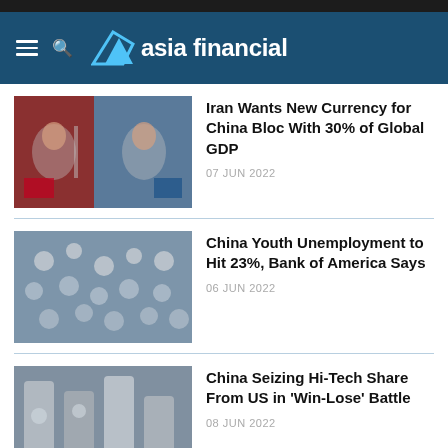asia financial
Iran Wants New Currency for China Bloc With 30% of Global GDP — 07 JUN 2022
China Youth Unemployment to Hit 23%, Bank of America Says — 06 JUN 2022
China Seizing Hi-Tech Share From US in 'Win-Lose' Battle — 08 JUN 2022
Chinese Tech Firms in the Line of Fire From US Curbs – SCMP — 04 APR 2022